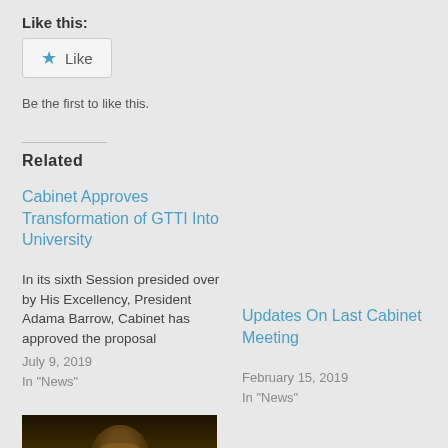Like this:
[Figure (other): Like button with star icon and 'Like' label]
Be the first to like this.
Related
Cabinet Approves Transformation of GTTI Into University
In its sixth Session presided over by His Excellency, President Adama Barrow, Cabinet has approved the proposal
July 9, 2019
In "News"
Updates On Last Cabinet Meeting
February 15, 2019
In "News"
[Figure (photo): Photo of a person outdoors at night]